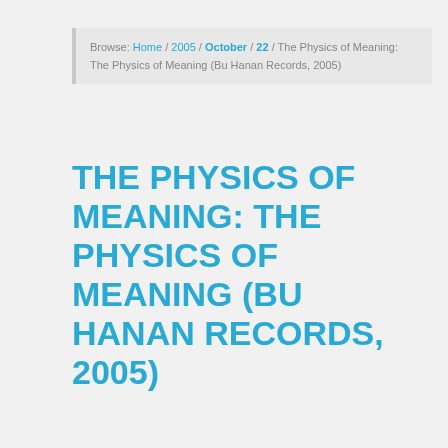Browse: Home / 2005 / October / 22 / The Physics of Meaning: The Physics of Meaning (Bu Hanan Records, 2005)
THE PHYSICS OF MEANING: THE PHYSICS OF MEANING (BU HANAN RECORDS, 2005)
swc / October 22, 2005 / Leave a comment / Reviews
by Brent
[Figure (photo): Album artwork showing a dark night sky with stars and the text 'the physics of meaning' in cursive script, with a comet streak visible]